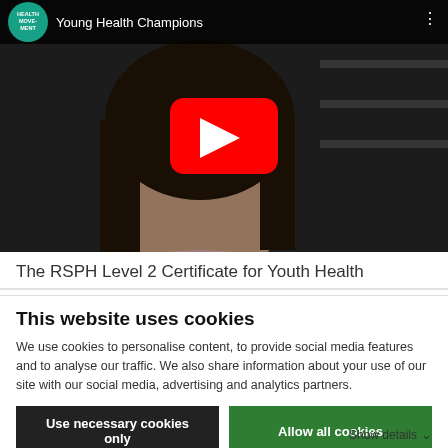[Figure (screenshot): YouTube video thumbnail showing a young woman with dark hair in a purple top, with a YouTube play button overlay. Video title bar shows 'Young Health Champions' with a Health Movement logo (teal circle).]
The RSPH Level 2 Certificate for Youth Health
This website uses cookies
We use cookies to personalise content, to provide social media features and to analyse our traffic. We also share information about your use of our site with our social media, advertising and analytics partners.
Use necessary cookies only
Allow all cookies
Show details